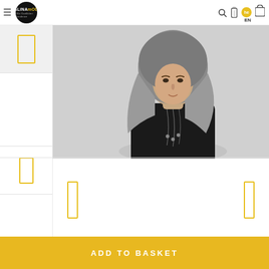Eslina Moda — navigation header with logo, search, user, basket icons, and language selector (EN/he)
[Figure (photo): Small thumbnail of a product, active/selected state with yellow border]
[Figure (photo): Second thumbnail placeholder area (white)]
[Figure (photo): Third thumbnail with yellow border arrows]
[Figure (photo): Main product photo: woman wearing gray hijab and black outfit with necklace, against light gray background]
[Figure (photo): Product detail/color swatch area with left and right yellow bordered navigation arrows]
ADD TO BASKET